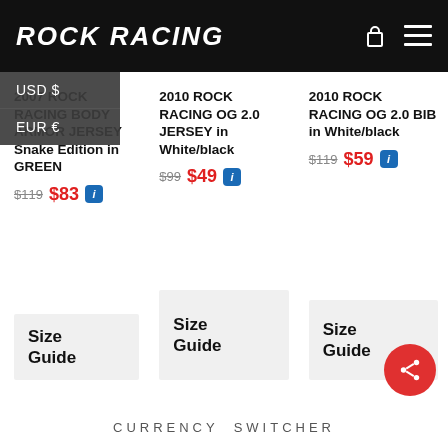ROCK RACING
USD $
EUR €
2007 ROCK RACING BODY ARMOR JERSEY Snake Edition in GREEN
$119  $83
Size Guide
2010 ROCK RACING OG 2.0 JERSEY in White/black
$99  $49
Size Guide
2010 ROCK RACING OG 2.0 BIB in White/black
$119  $59
Size Guide
CURRENCY SWITCHER